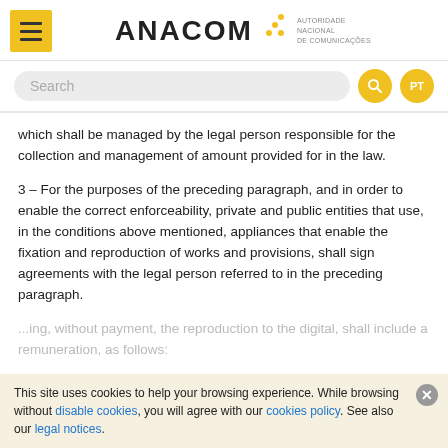[Figure (logo): ANACOM logo with menu button and subtitle AUTORIDADE NACIONAL DE COMUNICAÇÕES]
[Figure (screenshot): Search bar with search input field, yellow search icon button, and yellow PT language button]
which shall be managed by the legal person responsible for the collection and management of amount provided for in the law.
3 – For the purposes of the preceding paragraph, and in order to enable the correct enforceability, private and public entities that use, in the conditions above mentioned, appliances that enable the fixation and reproduction of works and provisions, shall sign agreements with the legal person referred to in the preceding paragraph.
This site uses cookies to help your browsing experience. While browsing without disable cookies, you will agree with our cookies policy. See also our legal notices.